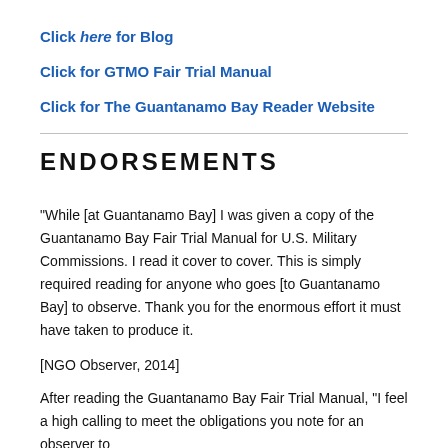Click here for Blog
Click for GTMO Fair Trial Manual
Click for The Guantanamo Bay Reader Website
ENDORSEMENTS
"While [at Guantanamo Bay] I was given a copy of the Guantanamo Bay Fair Trial Manual for U.S. Military Commissions. I read it cover to cover. This is simply required reading for anyone who goes [to Guantanamo Bay] to observe. Thank you for the enormous effort it must have taken to produce it.
[NGO Observer, 2014]
After reading the Guantanamo Bay Fair Trial Manual, "I feel a high calling to meet the obligations you note for an observer to